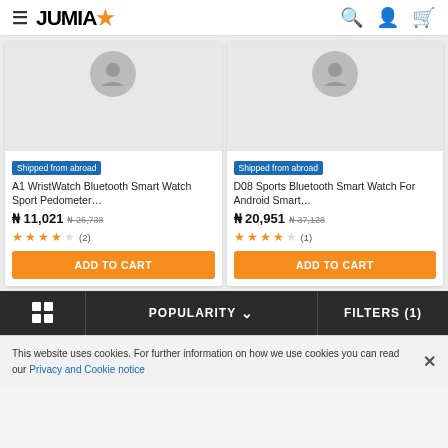JUMIA
[Figure (screenshot): Product card for A1 WristWatch Bluetooth Smart Watch Sport Pedometer with price N 11,021 (original N 26,738), 3.5 star rating (2 reviews), Shipped from abroad badge, ADD TO CART button]
[Figure (screenshot): Product card for D08 Sports Bluetooth Smart Watch For Android Smart with price N 20,951 (original N 37,128), 4 star rating (1 review), Shipped from abroad badge, ADD TO CART button]
POPULARITY ∨
FILTERS (1)
This website uses cookies. For further information on how we use cookies you can read our Privacy and Cookie notice